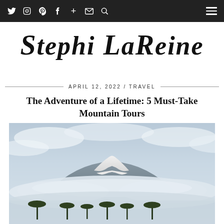Twitter Instagram Pinterest Facebook + Email Search | Menu
Stephi LaReine
APRIL 12, 2022 / TRAVEL
The Adventure of a Lifetime: 5 Must-Take Mountain Tours
[Figure (photo): Aerial photo of a large snow-capped mountain (resembling Kilimanjaro) rising above clouds, with flat-topped acacia trees visible at the bottom of the frame against a hazy blue-grey sky.]